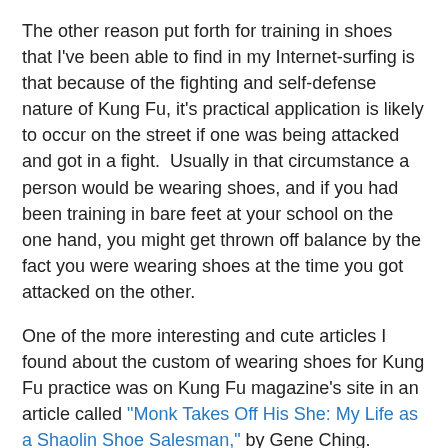The other reason put forth for training in shoes that I've been able to find in my Internet-surfing is that because of the fighting and self-defense nature of Kung Fu, it's practical application is likely to occur on the street if one was being attacked and got in a fight.  Usually in that circumstance a person would be wearing shoes, and if you had been training in bare feet at your school on the one hand, you might get thrown off balance by the fact you were wearing shoes at the time you got attacked on the other.
One of the more interesting and cute articles I found about the custom of wearing shoes for Kung Fu practice was on Kung Fu magazine's site in an article called "Monk Takes Off His She: My Life as a Shaolin Shoe Salesman," by Gene Ching.
The information I was looking for, however, was more along the lines of how shoes were part of or were necessary to form optimal technique.  I didn't find anything like that, really.  The answer to wearing the shoes just seemed to sum up as, "because that's how it traditionally was practiced," but did not